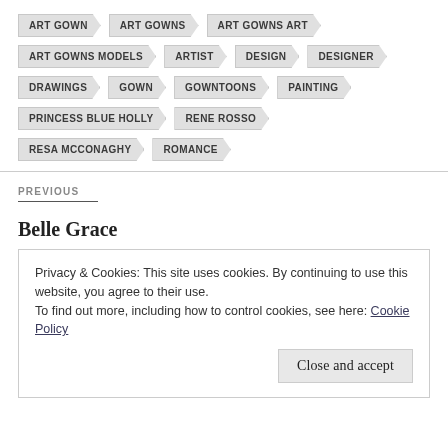ART GOWN
ART GOWNS
ART GOWNS ART
ART GOWNS MODELS
ARTIST
DESIGN
DESIGNER
DRAWINGS
GOWN
GOWNTOONS
PAINTING
PRINCESS BLUE HOLLY
RENE ROSSO
RESA MCCONAGHY
ROMANCE
PREVIOUS
Belle Grace
Privacy & Cookies: This site uses cookies. By continuing to use this website, you agree to their use.
To find out more, including how to control cookies, see here: Cookie Policy
Close and accept